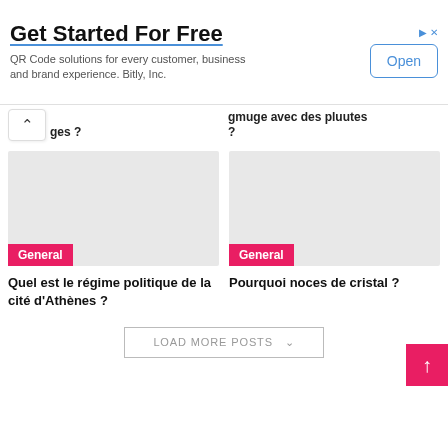[Figure (screenshot): Advertisement banner: 'Get Started For Free' with description 'QR Code solutions for every customer, business and brand experience. Bitly, Inc.' and an 'Open' button]
ges ?
gmuge avec des pluutes ?
[Figure (photo): Gray placeholder image with 'General' pink tag label]
[Figure (photo): Gray placeholder image with 'General' pink tag label]
Quel est le régime politique de la cité d'Athènes ?
Pourquoi noces de cristal ?
LOAD MORE POSTS